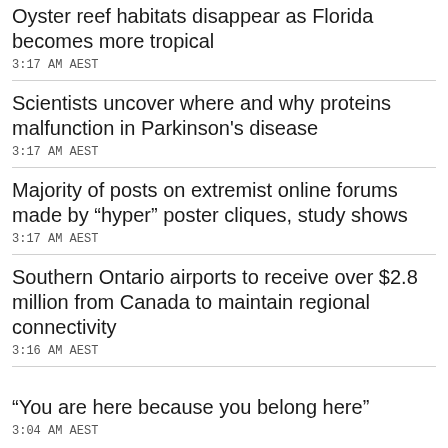Oyster reef habitats disappear as Florida becomes more tropical
3:17 AM AEST
Scientists uncover where and why proteins malfunction in Parkinson’s disease
3:17 AM AEST
Majority of posts on extremist online forums made by “hyper” poster cliques, study shows
3:17 AM AEST
Southern Ontario airports to receive over $2.8 million from Canada to maintain regional connectivity
3:16 AM AEST
“You are here because you belong here”
3:04 AM AEST